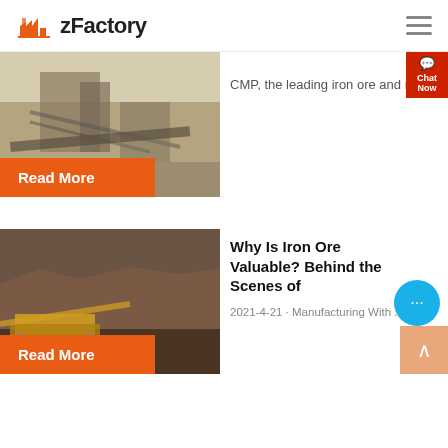zFactory
[Figure (photo): Industrial mining/crushing facility with conveyor belts and machinery]
CMP, the leading iron ore and m...
Read More
[Figure (photo): Open pit mine with yellow conveyor/mining machinery]
Why Is Iron Ore Valuable? Behind the Scenes of
2021-4-21 · Manufacturing With ...
Read More